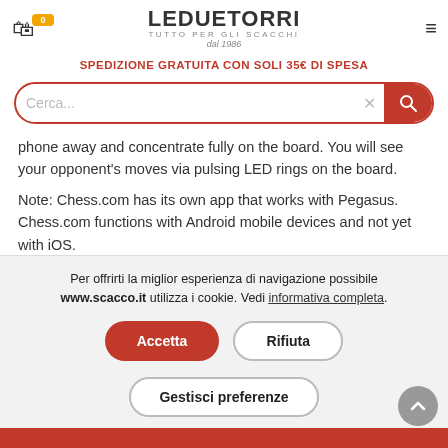LE DUE TORRI - TUTTO PER GLI SCACCHI dal 1986
SPEDIZIONE GRATUITA CON SOLI 35€ DI SPESA
Cerca...
phone away and concentrate fully on the board. You will see your opponent's moves via pulsing LED rings on the board.
Note: Chess.com has its own app that works with Pegasus. Chess.com functions with Android mobile devices and not yet with iOS.
Per offrirti la miglior esperienza di navigazione possibile www.scacco.it utilizza i cookie. Vedi informativa completa.
Accetta
Rifiuta
Gestisci preferenze